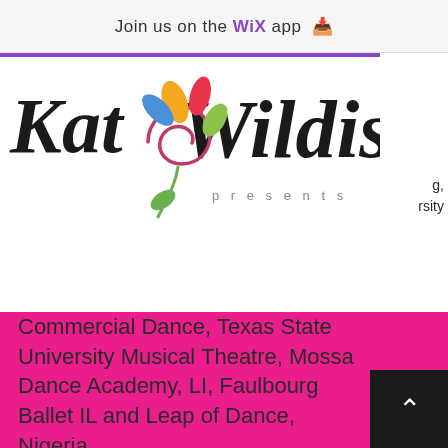Join us on the WiX app
[Figure (logo): Kat Wildish presents - handwritten script logo with colorful decorative flower/spiral motif]
rsity
Commercial Dance, Texas State University Musical Theatre, Mossa Dance Academy, LI, Faulbourg Ballet IL and Leap of Dance, Nigeria.
Over three decades of teaching, Kat Wildish has developed a distinctive, systematic, and highly effective approach to dance education. In her beginner & intermediate technique